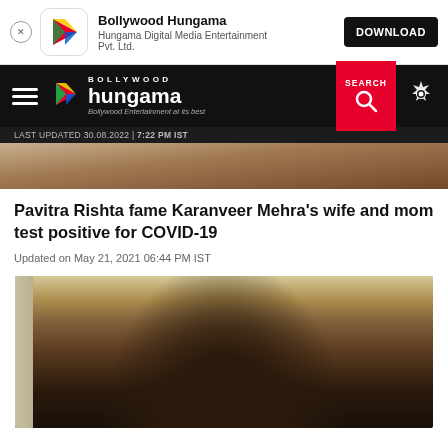[Figure (screenshot): App download banner for Bollywood Hungama with app icon, name, publisher, and download button]
[Figure (screenshot): Bollywood Hungama navigation bar with hamburger menu, logo, search button in red, and settings gear icon]
LAST UPDATED 30.08.2022 | 7:22 PM IST
[Figure (photo): Partial photo of a man in orange/red shirt, cropped from article hero image]
Pavitra Rishta fame Karanveer Mehra's wife and mom test positive for COVID-19
Updated on May 21, 2021 06:44 PM IST
[Figure (photo): Photo of Karanveer Mehra, a dark-haired Indian man in formal attire, looking to the side]